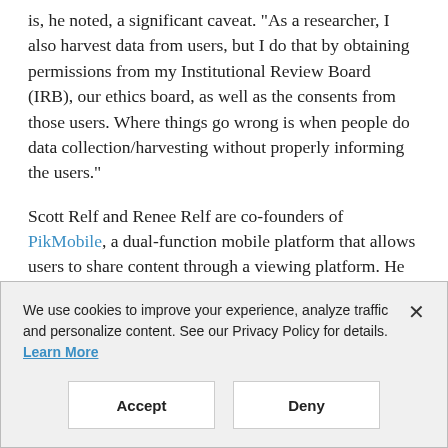is, he noted, a significant caveat. "As a researcher, I also harvest data from users, but I do that by obtaining permissions from my Institutional Review Board (IRB), our ethics board, as well as the consents from those users. Where things go wrong is when people do data collection/harvesting without properly informing the users."
Scott Relf and Renee Relf are co-founders of PikMobile, a dual-function mobile platform that allows users to share content through a viewing platform. He said it is possible, and even likely, that Facebook doesn't know everyone that has been harvesting data from its
We use cookies to improve your experience, analyze traffic and personalize content. See our Privacy Policy for details. Learn More
Accept
Deny